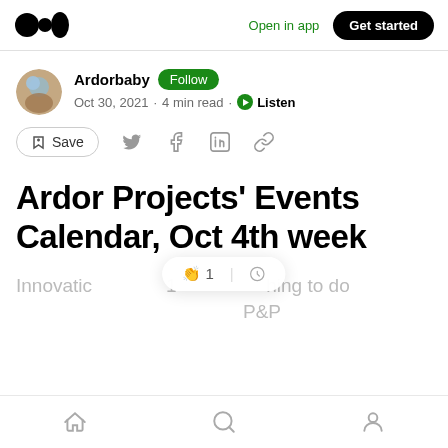Medium — Open in app — Get started
Ardorbaby · Follow · Oct 30, 2021 · 4 min read · Listen
Save
Ardor Projects' Events Calendar, Oct 4th week
Innovatic 🤝 1 | Q hing to do
Home | Search | Profile